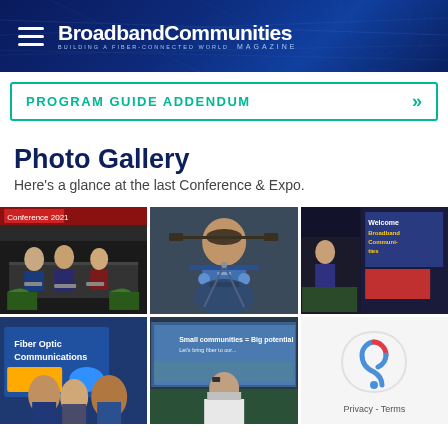BroadbandCommunities Magazine — Building a Fiber-Connected World
PROGRAM GUIDE ADDENDUM
Photo Gallery
Here's a glance at the last Conference & Expo.
[Figure (photo): Panel discussion at conference table with multiple speakers seated behind name placards, dark curtain backdrop]
[Figure (photo): Man in blue shirt with glasses speaking at microphone, clapping hands, conference setting]
[Figure (photo): Presenter on stage at BroadbandCommunities conference with banner and display screen visible]
[Figure (photo): Fiber Optic Communications booth at expo with attendees gathered around]
[Figure (photo): Small communities big potential presentation with masked presenter at table]
[Figure (other): CAPTCHA privacy widget showing reCAPTCHA logo with Privacy and Terms links]